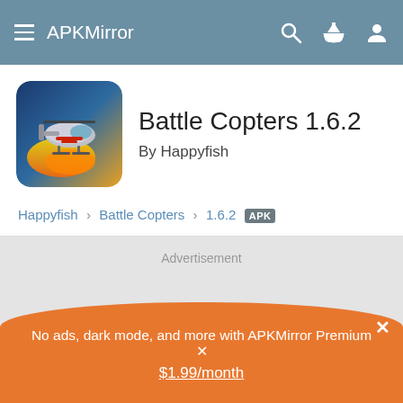APKMirror
Battle Copters 1.6.2
By Happyfish
Happyfish > Battle Copters > 1.6.2 APK
Advertisement
No ads, dark mode, and more with APKMirror Premium ✕ $1.99/month